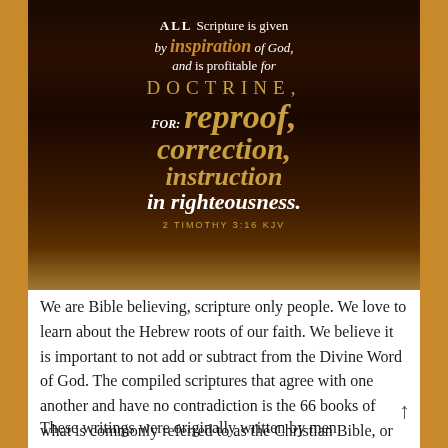[Figure (photo): Dark background image of an open Bible with overlaid scripture text: 'ALL Scripture is given by inspiration of God, and is profitable for DOCTRINE, FOR: reproof, correction, instruction in righteousness. 2 Timothy 3:16 KJV' — text in white and gold on dark brown/black background]
We are Bible believing, scripture only people.  We love to learn about the Hebrew roots of our faith.  We believe it is important to not add or subtract from the Divine Word of God.  The compiled scriptures that agree with one another and have no contradiction is the 66 books of what is commonly referred to as the Christian Bible, or the Holy Bible
These writings were originally written by men